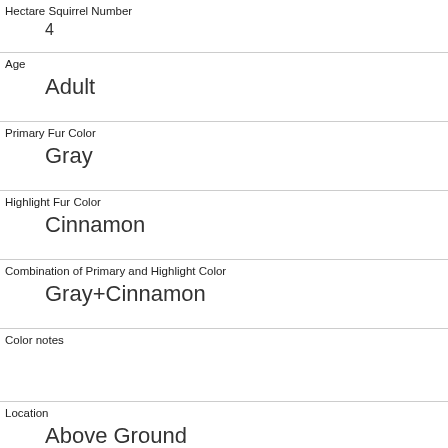| Hectare Squirrel Number | 4 |
| Age | Adult |
| Primary Fur Color | Gray |
| Highlight Fur Color | Cinnamon |
| Combination of Primary and Highlight Color | Gray+Cinnamon |
| Color notes |  |
| Location | Above Ground |
| Above Ground Sighter Measurement | 20 |
| Specific Location |  |
| Running | 0 |
| Chasing |  |